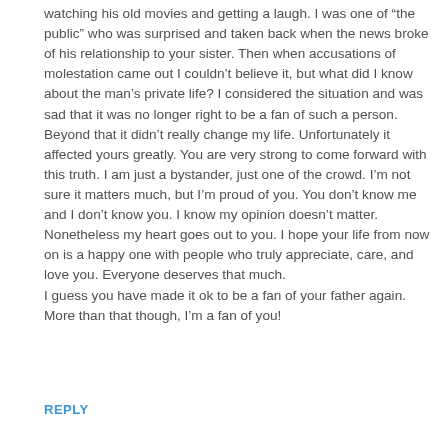watching his old movies and getting a laugh. I was one of “the public” who was surprised and taken back when the news broke of his relationship to your sister. Then when accusations of molestation came out I couldn’t believe it, but what did I know about the man’s private life? I considered the situation and was sad that it was no longer right to be a fan of such a person. Beyond that it didn’t really change my life. Unfortunately it affected yours greatly. You are very strong to come forward with this truth. I am just a bystander, just one of the crowd. I’m not sure it matters much, but I’m proud of you. You don’t know me and I don’t know you. I know my opinion doesn’t matter. Nonetheless my heart goes out to you. I hope your life from now on is a happy one with people who truly appreciate, care, and love you. Everyone deserves that much.
I guess you have made it ok to be a fan of your father again. More than that though, I’m a fan of you!
REPLY